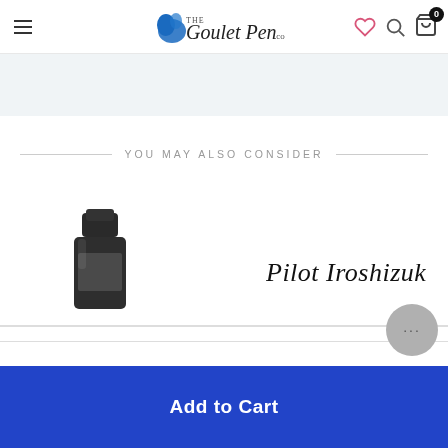The Goulet Pen Co. — Navigation header with hamburger menu, logo, wishlist, search, and cart icons
YOU MAY ALSO CONSIDER
[Figure (photo): Dark ink bottle product image on the left side of product strip]
[Figure (photo): Handwritten script text reading 'Pilot Iroshizuku' on the right side of product strip]
Add to Cart